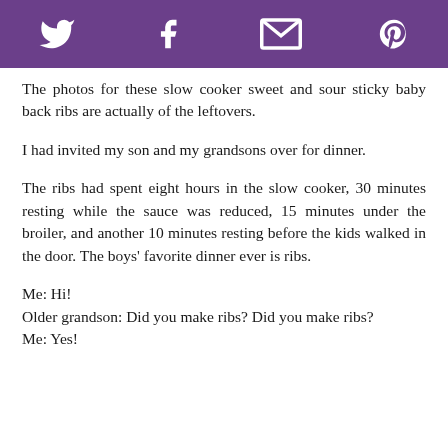[Social share icons: Twitter, Facebook, Email, Pinterest]
The photos for these slow cooker sweet and sour sticky baby back ribs are actually of the leftovers.
I had invited my son and my grandsons over for dinner.
The ribs had spent eight hours in the slow cooker, 30 minutes resting while the sauce was reduced, 15 minutes under the broiler, and another 10 minutes resting before the kids walked in the door. The boys' favorite dinner ever is ribs.
Me: Hi!
Older grandson: Did you make ribs? Did you make ribs?
Me: Yes!